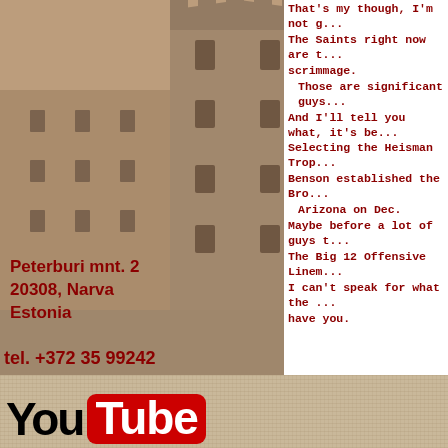[Figure (photo): Sepia-toned photograph of Narva Castle (Hermann Castle), a tall medieval stone tower and fortress, taken from a low angle looking up. The image occupies the left portion of the page.]
That's my though, I'm not g... The Saints right now are t... scrimmage. Those are significant guys... And I'll tell you what, it's be... Selecting the Heisman Trop... Benson established the Bro... Arizona on Dec. Maybe before a lot of guys t... The Big 12 Offensive Linem... I can't speak for what the ... have you.
Peterburi mnt. 2
20308, Narva
Estonia
tel. +372 35 99242
GSM + 372 56 474722
[Figure (logo): YouTube logo: 'You' in black bold text followed by 'Tube' in white bold text inside a red rounded rectangle badge.]